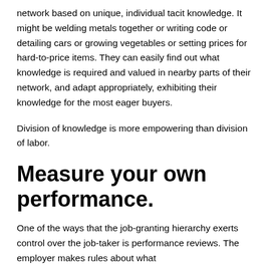network based on unique, individual tacit knowledge. It might be welding metals together or writing code or detailing cars or growing vegetables or setting prices for hard-to-price items. They can easily find out what knowledge is required and valued in nearby parts of their network, and adapt appropriately, exhibiting their knowledge for the most eager buyers.
Division of knowledge is more empowering than division of labor.
Measure your own performance.
One of the ways that the job-granting hierarchy exerts control over the job-taker is performance reviews. The employer makes rules about what